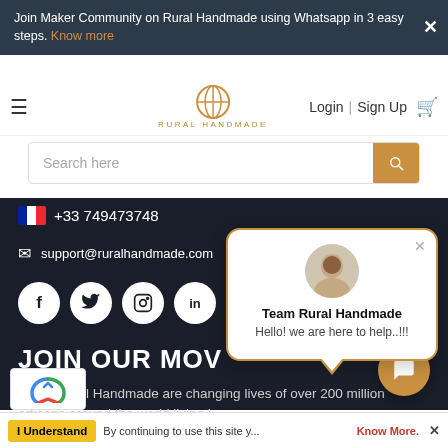Join Maker Community on Rural Handmade using Whatsapp in 3 easy steps. Know more
[Figure (logo): Rural Handmade logo with orange geometric icon and spaced text RURAL HANDMADE]
Login | Sign Up
Search here
+33 749473748
support@ruralhandmade.com
[Figure (infographic): Social media icons: Facebook, Twitter, Instagram, LinkedIn in white circles on dark background]
JOIN OUR MOV
We at Rural Handmade are changing lives of over 200 million artisans around the world living i
[Figure (infographic): Chat popup from Team Rural Handmade with avatar photo, message: Hello! we are here to help..!!!]
I Understand   By continuing to use this site y...   Know More.   X